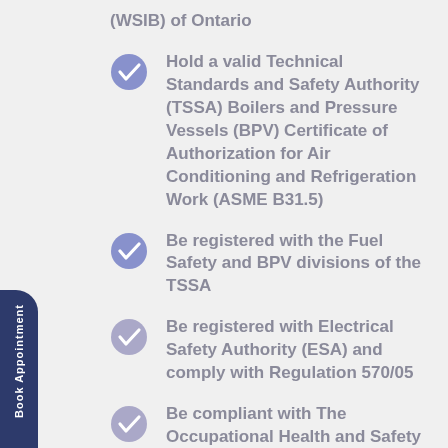(WSIB) of Ontario
Hold a valid Technical Standards and Safety Authority (TSSA) Boilers and Pressure Vessels (BPV) Certificate of Authorization for Air Conditioning and Refrigeration Work (ASME B31.5)
Be registered with the Fuel Safety and BPV divisions of the TSSA
Be registered with Electrical Safety Authority (ESA) and comply with Regulation 570/05
Be compliant with The Occupational Health and Safety Act (OHSA) R.S.O. 1990 as amended